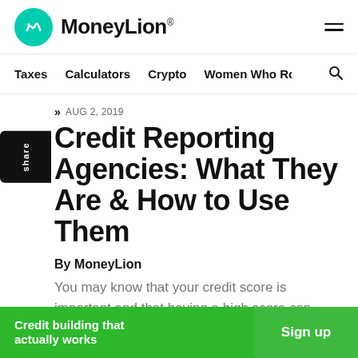MoneyLion
Taxes  Calculators  Crypto  Women Who Ro:
AUG 2, 2019
Credit Reporting Agencies: What They Are & How to Use Them
By MoneyLion
You may know that your credit score is important and that having a high score can unlock... But do you know where...
Credit building that actually works  Sign up